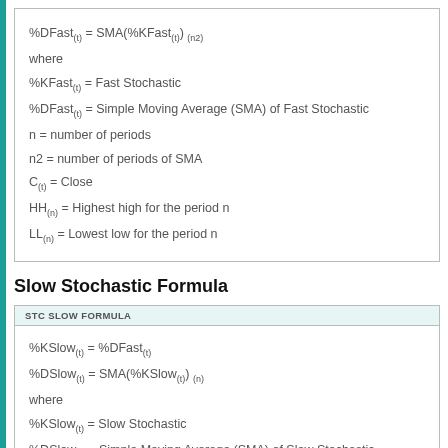%DFast(t) = SMA(%KFast(t)) (n2)
where
%KFast(t) = Fast Stochastic
%DFast(t) = Simple Moving Average (SMA) of Fast Stochastic
n = number of periods
n2 = number of periods of SMA
C(t) = Close
HH(n) = Highest high for the period n
LL(n) = Lowest low for the period n
Slow Stochastic Formula
STC SLOW FORMULA
%KSlow(t) = %DFast(t)
%DSlow(t) = SMA(%KSlow(t)) (n)
where
%KSlow(t) = Slow Stochastic
%DSlow(t) = Simple Moving Average (SMA) of Slow Stochastic